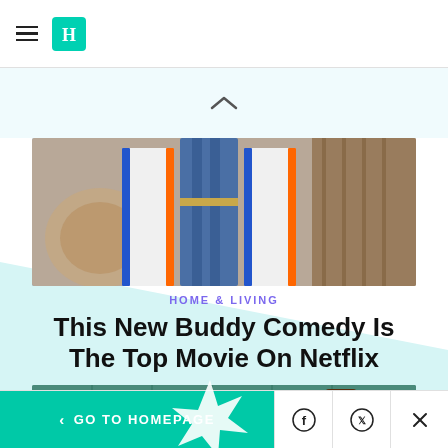HuffPost navigation
[Figure (photo): Three people standing together outdoors, wearing white tracksuits with blue and orange stripes]
HOME & LIVING
This New Buddy Comedy Is The Top Movie On Netflix
[Figure (photo): Product image showing a Duck Brand Window Kit and Old English furniture polish bottle against a teal tile background]
< GO TO HOMEPAGE | Facebook | Twitter | X (close)